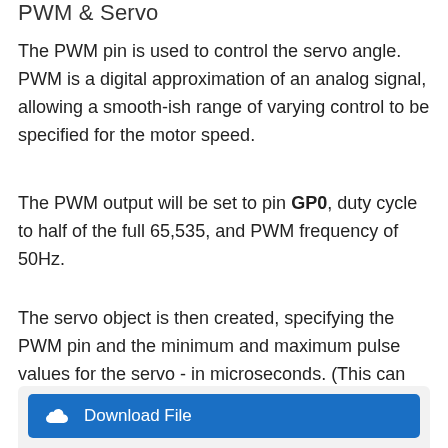PWM & Servo
The PWM pin is used to control the servo angle. PWM is a digital approximation of an analog signal, allowing a smooth-ish range of varying control to be specified for the motor speed.
The PWM output will be set to pin GP0, duty cycle to half of the full 65,535, and PWM frequency of 50Hz.
The servo object is then created, specifying the PWM pin and the minimum and maximum pulse values for the servo - in microseconds. (This can vary from servo to servo, see datasheets or ask your vendor for details.)
[Figure (other): Blue 'Download File' button inside a light grey rounded box]